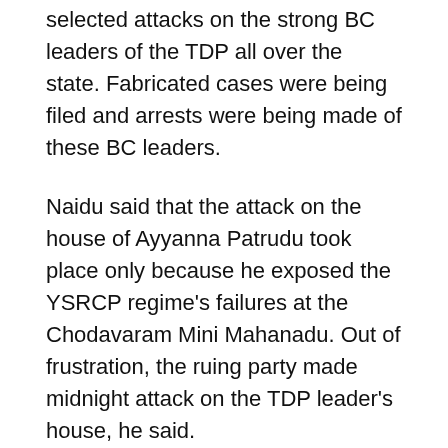selected attacks on the strong BC leaders of the TDP all over the state. Fabricated cases were being filed and arrests were being made of these BC leaders.
Naidu said that the attack on the house of Ayyanna Patrudu took place only because he exposed the YSRCP regime's failures at the Chodavaram Mini Mahanadu. Out of frustration, the ruing party made midnight attack on the TDP leader's house, he said.